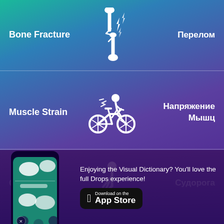[Figure (infographic): Bone fracture illustration with lightning bolt effect on bone, flanked by English label 'Bone Fracture' on left and Russian label 'Перелом' on right, on teal-to-purple gradient background]
[Figure (infographic): Muscle strain illustration showing person cycling on bicycle with effort lines, flanked by 'Muscle Strain' on left and 'Напряжение Мышц' on right]
[Figure (infographic): Cramp illustration showing person sitting and holding leg with lightning bolts, flanked by 'Cramp' on left and 'Судорога' on right]
[Figure (screenshot): Phone mockup showing Drops app interface with vocabulary cards, next to promotional text 'Enjoying the Visual Dictionary? You'll love the full Drops experience!' and App Store download button]